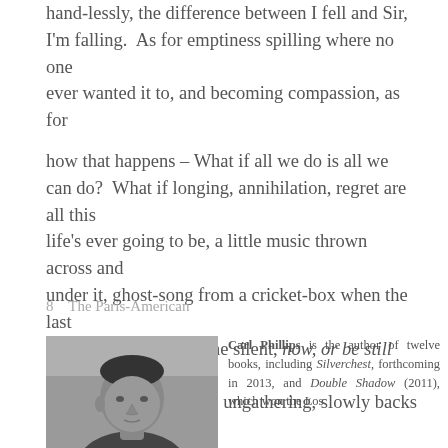hand-lessly, the difference between I fell and Sir, I'm falling.  As for emptiness spilling where no one ever wanted it to, and becoming compassion, as for
how that happens – What if all we do is all we can do?  What if longing, annihilation, regret are all this life's ever going to be, a little music thrown across and under it, ghost-song from a cricket-box when the last crickets have again gone silent, now, or be still forever, as the gathering crowd, ungathering, slowly backs away?
8    The Paris-American
Carl Phillips is the author of twelve books, including Silverchest, forthcoming in 2013, and Double Shadow (2011), which won the Los
[Figure (photo): Black and white headshot photo of Carl Phillips, a man facing slightly to the right]